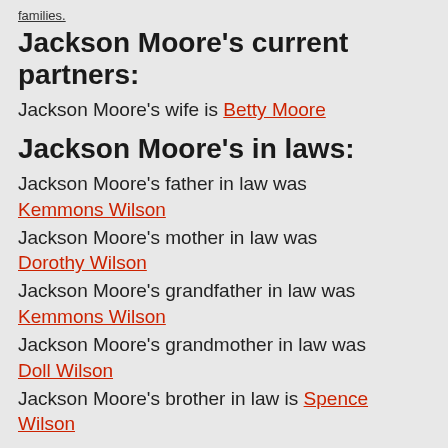...families.
Jackson Moore's current partners:
Jackson Moore's wife is Betty Moore
Jackson Moore's in laws:
Jackson Moore's father in law was Kemmons Wilson
Jackson Moore's mother in law was Dorothy Wilson
Jackson Moore's grandfather in law was Kemmons Wilson
Jackson Moore's grandmother in law was Doll Wilson
Jackson Moore's brother in law is Spence Wilson